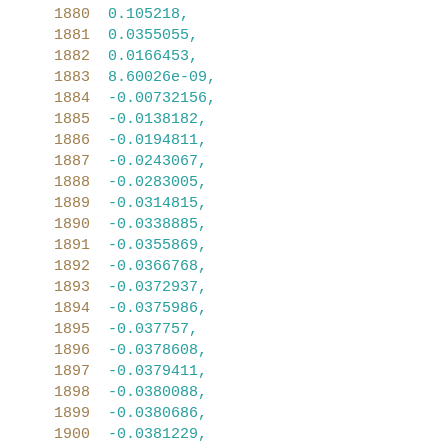1880    0.105218,
1881    0.0355055,
1882    0.0166453,
1883    8.60026e-09,
1884    -0.00732156,
1885    -0.0138182,
1886    -0.0194811,
1887    -0.0243067,
1888    -0.0283005,
1889    -0.0314815,
1890    -0.0338885,
1891    -0.0355869,
1892    -0.0366768,
1893    -0.0372937,
1894    -0.0375986,
1895    -0.037757,
1896    -0.0378608,
1897    -0.0379411,
1898    -0.0380088,
1899    -0.0380686,
1900    -0.0381229,